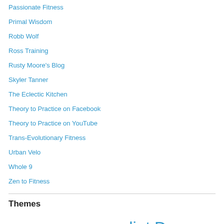Passionate Fitness
Primal Wisdom
Robb Wolf
Ross Training
Rusty Moore's Blog
Skyler Tanner
The Eclectic Kitchen
Theory to Practice on Facebook
Theory to Practice on YouTube
Trans-Evolutionary Fitness
Urban Velo
Whole 9
Zen to Fitness
Themes
activism  ARX Fit technology  Autoregulation  diet  Dogma  EETV  Et Cetera  Exercises  Fixie  Gear  Good Eats  Good